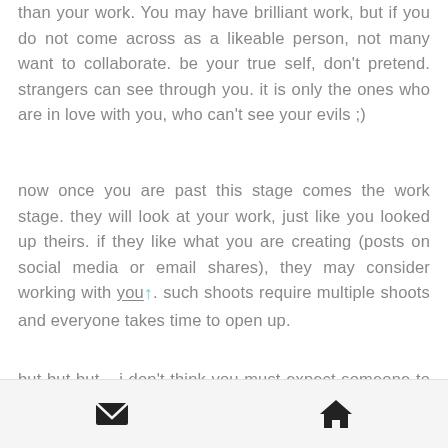than your work. You may have brilliant work, but if you do not come across as a likeable person, not many want to collaborate. be your true self, don't pretend. strangers can see through you. it is only the ones who are in love with you, who can't see your evils ;)
now once you are past this stage comes the work stage. they will look at your work, just like you looked up theirs. if they like what you are creating (posts on social media or email shares), they may consider working with you. such shoots require multiple shoots and everyone takes time to open up.
but but but... i don't think you must expect someone to shoot something with you, if you
[Figure (other): Footer navigation bar with email icon (envelope) on the left and home icon (house) on the right]